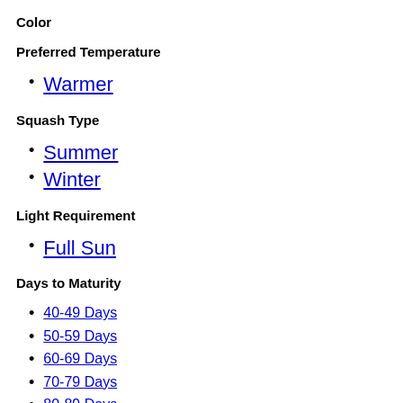Color
Preferred Temperature
Warmer
Squash Type
Summer
Winter
Light Requirement
Full Sun
Days to Maturity
40-49 Days
50-59 Days
60-69 Days
70-79 Days
80-89 Days
90-99 Days